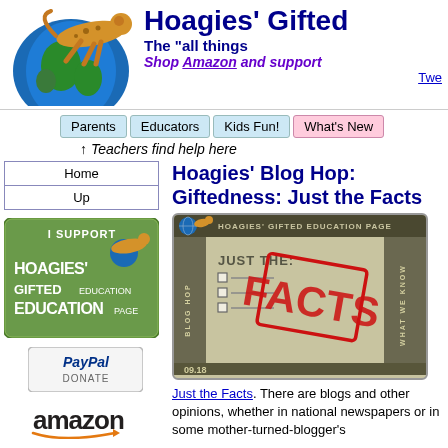[Figure (logo): Hoagies Gifted Education Page logo — cheetah running on globe]
Hoagies' Gifted
The "all things
Shop Amazon and support
Twe
Parents  Educators  Kids Fun!  What's New
↑ Teachers find help here
Home
Up
Hoagies' Blog Hop: Giftedness: Just the Facts
[Figure (illustration): Hoagies Gifted Education Page Blog Hop: Just the Facts — What We Know stamp graphic]
Just the Facts. There are blogs and other opinions, whether in national newspapers or in some mother-turned-blogger's